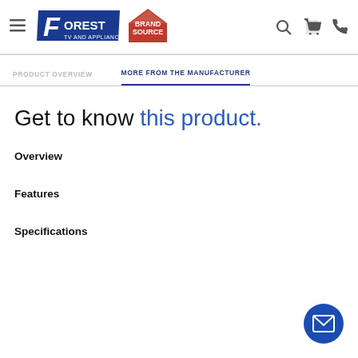Forest TV and Appliance / Brand Source — navigation header
PRODUCT OVERVIEW | MORE FROM THE MANUFACTURER
Get to know this product.
Overview
Features
Specifications